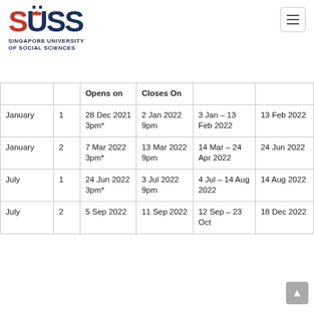[Figure (logo): SUSS - Singapore University of Social Sciences logo]
|  |  | Opens on | Closes On |  |  |
| --- | --- | --- | --- | --- | --- |
| January | 1 | 28 Dec 2021 3pm* | 2 Jan 2022 9pm | 3 Jan – 13 Feb 2022 | 13 Feb 2022 |
| January | 2 | 7 Mar 2022 3pm* | 13 Mar 2022 9pm | 14 Mar – 24 Apr 2022 | 24 Jun 2022 |
| July | 1 | 24 Jun 2022 3pm* | 3 Jul 2022 9pm | 4 Jul – 14 Aug 2022 | 14 Aug 2022 |
| July | 2 | 5 Sep 2022 | 11 Sep 2022 | 12 Sep – 23 Oct | 18 Dec 2022 |